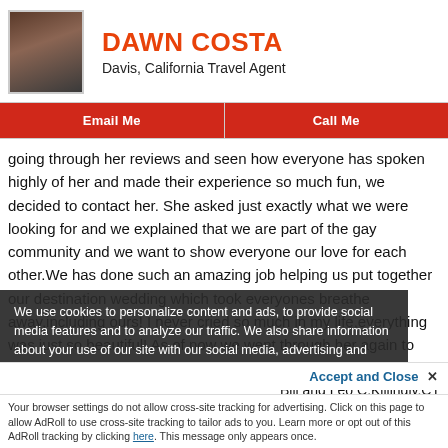DAWN COSTA
Davis, California Travel Agent
Email Me
Call Me
going through her reviews and seen how everyone has spoken highly of her and made their experience so much fun, we decided to contact her. She asked just exactly what we were looking for and we explained that we are part of the gay community and we want to show everyone our love for each other.We has done such an amazing job helping us put together our destination wedding which took everyones breathe away,including ours! I never cried so much in my life,everything was just so beautiful! As of now we went through her again to help us plan the perfect...
Bill and Leo C,Killingly,CT
We use cookies to personalize content and ads, to provide social media features and to analyze our traffic. We also share information about your use of our site with our social media, advertising and analytics partners. You can
Accept and Close ✕
Your browser settings do not allow cross-site tracking for advertising. Click on this page to allow AdRoll to use cross-site tracking to tailor ads to you. Learn more or opt out of this AdRoll tracking by clicking here. This message only appears once.